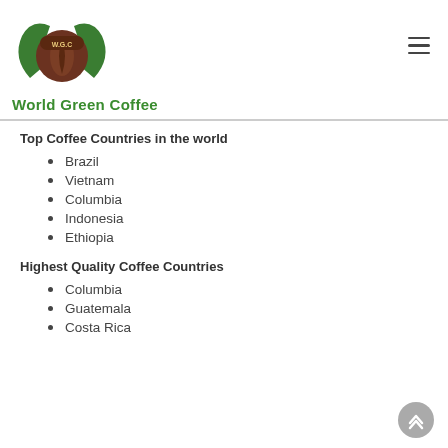[Figure (logo): World Green Coffee logo: green leaf wings with a brown coffee bean in the center, W.G.C text at top of bean, with 'World Green Coffee' text below in green bold font.]
Top Coffee Countries in the world
Brazil
Vietnam
Columbia
Indonesia
Ethiopia
Highest Quality Coffee Countries
Columbia
Guatemala
Costa Rica